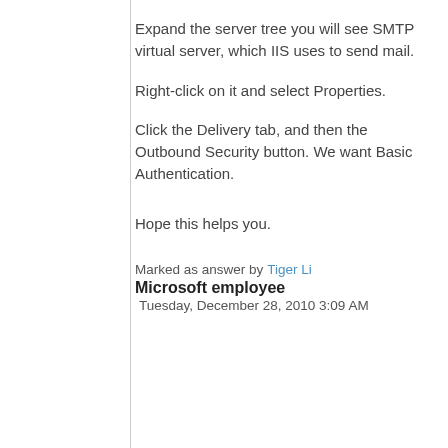Expand the server tree you will see SMTP virtual server, which IIS uses to send mail.
Right-click on it and select Properties.
Click the Delivery tab, and then the Outbound Security button. We want Basic Authentication.
Hope this helps you.
Marked as answer by Tiger Li Microsoft employee Tuesday, December 28, 2010 3:09 AM